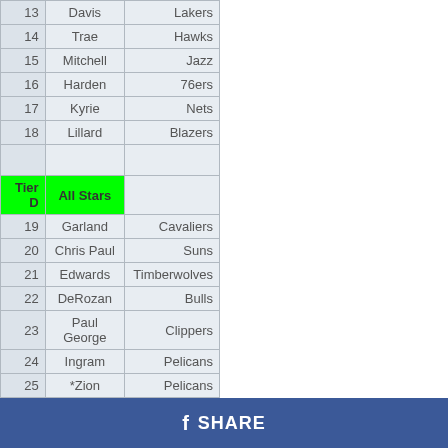| # | Name | Team |
| --- | --- | --- |
| 13 | Davis | Lakers |
| 14 | Trae | Hawks |
| 15 | Mitchell | Jazz |
| 16 | Harden | 76ers |
| 17 | Kyrie | Nets |
| 18 | Lillard | Blazers |
|  |  |  |
| Tier D | All Stars |  |
| 19 | Garland | Cavaliers |
| 20 | Chris Paul | Suns |
| 21 | Edwards | Timberwolves |
| 22 | DeRozan | Bulls |
| 23 | Paul George | Clippers |
| 24 | Ingram | Pelicans |
| 25 | *Zion | Pelicans |
| 26 | Gobert | Jazz |
| 27 | Khris | Bucks |
| 28 | LaVine | Bulls |
| 29 | *Beal | Wizards |
SHARE